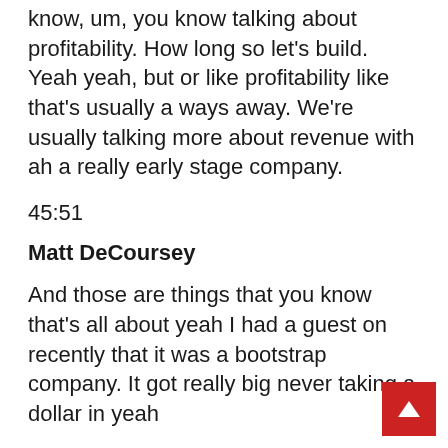know, um, you know talking about profitability. How long so let's build. Yeah yeah, but or like profitability like that's usually a ways away. We're usually talking more about revenue with ah a really early stage company.
45:51
Matt DeCoursey
And those are things that you know that's all about yeah I had a guest on recently that it was a bootstrap company. It got really big never taking a dollar in yeah